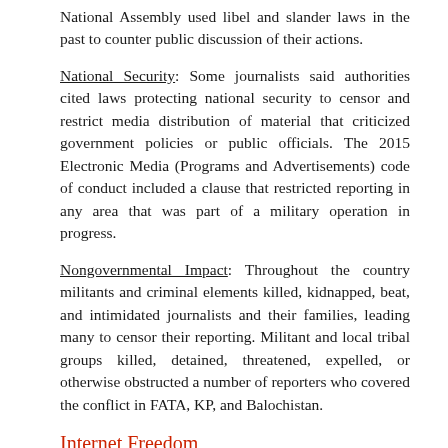National Assembly used libel and slander laws in the past to counter public discussion of their actions.
National Security: Some journalists said authorities cited laws protecting national security to censor and restrict media distribution of material that criticized government policies or public officials. The 2015 Electronic Media (Programs and Advertisements) code of conduct included a clause that restricted reporting in any area that was part of a military operation in progress.
Nongovernmental Impact: Throughout the country militants and criminal elements killed, kidnapped, beat, and intimidated journalists and their families, leading many to censor their reporting. Militant and local tribal groups killed, detained, threatened, expelled, or otherwise obstructed a number of reporters who covered the conflict in FATA, KP, and Balochistan.
Internet Freedom